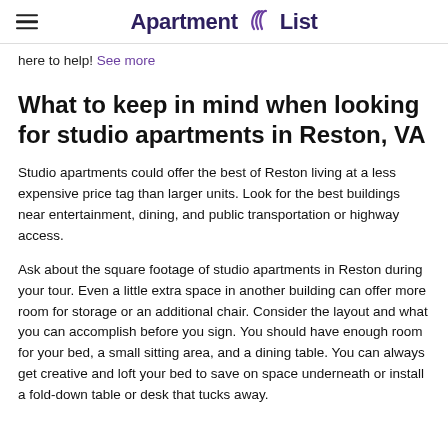Apartment List
here to help! See more
What to keep in mind when looking for studio apartments in Reston, VA
Studio apartments could offer the best of Reston living at a less expensive price tag than larger units. Look for the best buildings near entertainment, dining, and public transportation or highway access.
Ask about the square footage of studio apartments in Reston during your tour. Even a little extra space in another building can offer more room for storage or an additional chair. Consider the layout and what you can accomplish before you sign. You should have enough room for your bed, a small sitting area, and a dining table. You can always get creative and loft your bed to save on space underneath or install a fold-down table or desk that tucks away.